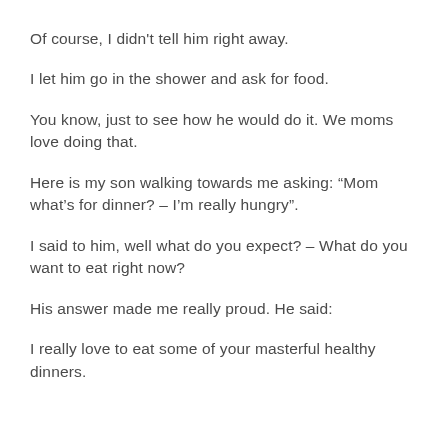Of course, I didn't tell him right away.
I let him go in the shower and ask for food.
You know, just to see how he would do it. We moms love doing that.
Here is my son walking towards me asking: “Mom what’s for dinner? – I’m really hungry”.
I said to him, well what do you expect? – What do you want to eat right now?
His answer made me really proud. He said:
I really love to eat some of your masterful healthy dinners.